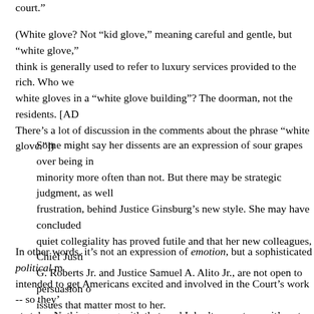court."
(White glove? Not "kid glove," meaning careful and gentle, but "white glove," think is generally used to refer to luxury services provided to the rich. Who we white gloves in a "white glove building"? The doorman, not the residents. [AD There's a lot of discussion in the comments about the phrase "white glove."])
Some might say her dissents are an expression of sour grapes over being in minority more often than not. But there may be strategic judgment, as well frustration, behind Justice Ginsburg’s new style. She may have concluded quiet collegiality has proved futile and that her new colleagues, Chief Justi G. Roberts Jr. and Justice Samuel A. Alito Jr., are not open to persuasion o issues that matter most to her.
In other words, it’s not an expression of emotion, but a sophisticated political intended to get Americans excited and involved in the Court’s work -- so they' at stake. Nothing wrong with that, and I don’t mean to say it’s not lofty and pro care about who gets chosen to wield Supreme Court power. It is. Greenhouse’s subtly conveys the impression that an extremely reserved woman has finally o reticence and spoken up and that this means the majority has erred badly in its understanding of the law. That in itself is a political argument leading the read that Ginsburg must be right and that the fact that she is in the minority on the t